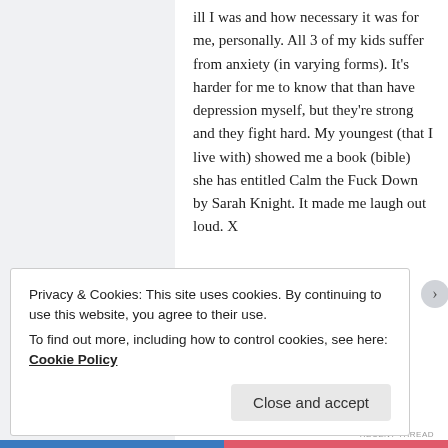ill I was and how necessary it was for me, personally. All 3 of my kids suffer from anxiety (in varying forms). It's harder for me to know that than have depression myself, but they're strong and they fight hard. My youngest (that I live with) showed me a book (bible) she has entitled Calm the Fuck Down by Sarah Knight. It made me laugh out loud. X
★ Liked by 1 person
Privacy & Cookies: This site uses cookies. By continuing to use this website, you agree to their use. To find out more, including how to control cookies, see here: Cookie Policy